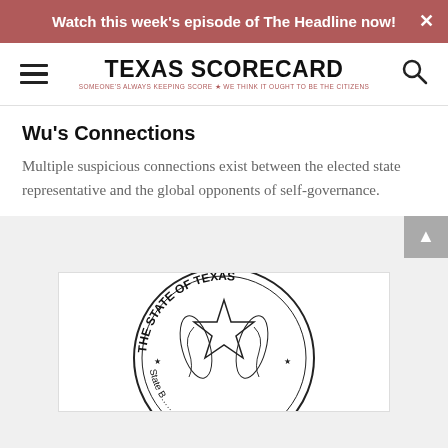Watch this week's episode of The Headline now!
[Figure (logo): Texas Scorecard logo with hamburger menu and search icon navigation bar]
Wu's Connections
Multiple suspicious connections exist between the elected state representative and the global opponents of self-governance.
[Figure (illustration): Partial view of The State of Texas circular seal with star and wreath, labeled State Board of Education]